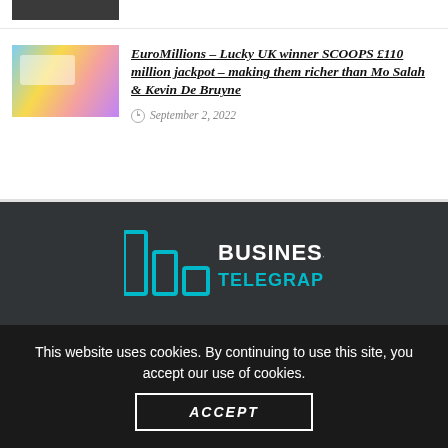[Figure (photo): Small thumbnail image at top, dark/people image]
[Figure (photo): EuroMillions lottery ticket thumbnail image, colorful]
EuroMillions – Lucky UK winner SCOOPS £110 million jackpot – making them richer than Mo Salah & Kevin De Bruyne
September 2, 2022
[Figure (logo): Business Telegraph logo with teal bar chart icon and white bold text]
This website uses cookies. By continuing to use this site, you accept our use of cookies.
ACCEPT